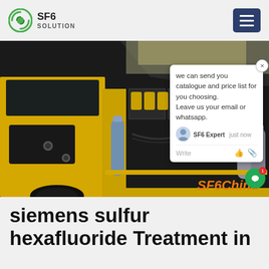SF6 SOLUTION
[Figure (photo): Yellow industrial truck with SF6 gas treatment equipment mounted on back, including cylinders and piping. Gray gas cylinders visible on right. Dark warehouse background. Chat popup overlay visible. SF6China watermark in orange.]
siemens sulfur hexafluoride Treatment in Thailand